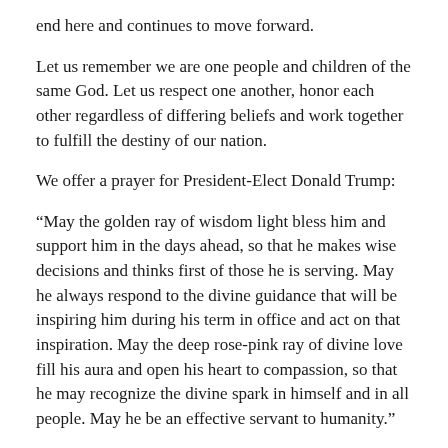end here and continues to move forward.
Let us remember we are one people and children of the same God. Let us respect one another, honor each other regardless of differing beliefs and work together to fulfill the destiny of our nation.
We offer a prayer for President-Elect Donald Trump:
“May the golden ray of wisdom light bless him and support him in the days ahead, so that he makes wise decisions and thinks first of those he is serving. May he always respond to the divine guidance that will be inspiring him during his term in office and act on that inspiration. May the deep rose-pink ray of divine love fill his aura and open his heart to compassion, so that he may recognize the divine spark in himself and in all people. May he be an effective servant to humanity.”
We call on the citizens of our country to rise to their highest and best self. Demonstrate your wisdom and compassion. Be wary of civic ignorance and apathy. The national discussion should not just happen every four years. It’s our duty to stay independently informed on the issues of the day, not just